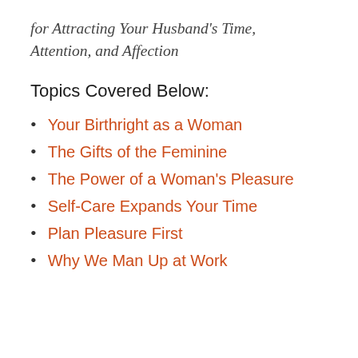for Attracting Your Husband's Time, Attention, and Affection
Topics Covered Below:
Your Birthright as a Woman
The Gifts of the Feminine
The Power of a Woman's Pleasure
Self-Care Expands Your Time
Plan Pleasure First
Why We Man Up at Work